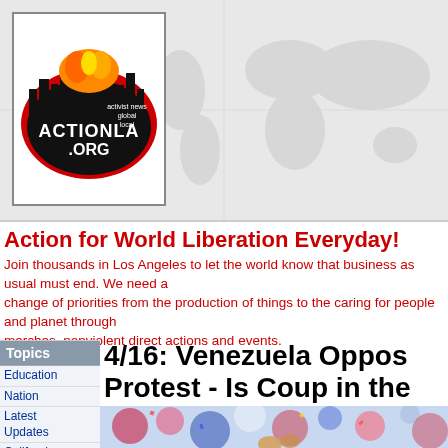[Figure (logo): ActionLA.org logo with cityscape silhouette, red oval border, text 'activist news global local']
Action for World Liberation Everyday!
Join thousands in Los Angeles to let the world know that business as usual must end. We need a change of priorities from the production of things to the caring for people and planet through marches, nonviolent direct actions and events.
Education
Nation
Latest Updates
California
Los Angeles
Peace & Justice
Labor
Immigration
4/16: Venezuela Oppos... Protest - Is Coup in the...
[Figure (photo): Colorful festive crowd scene with confetti and raised hands]